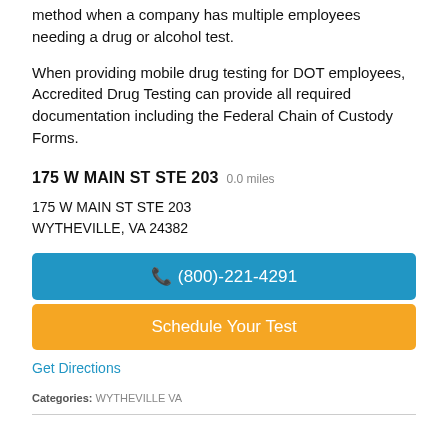method when a company has multiple employees needing a drug or alcohol test.
When providing mobile drug testing for DOT employees, Accredited Drug Testing can provide all required documentation including the Federal Chain of Custody Forms.
175 W MAIN ST STE 203 0.0 miles
175 W MAIN ST STE 203
WYTHEVILLE, VA 24382
(800)-221-4291
Schedule Your Test
Get Directions
Categories: WYTHEVILLE VA